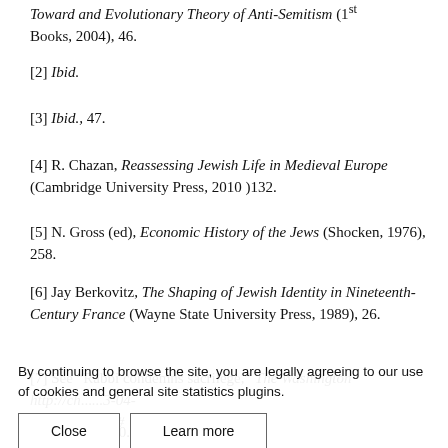Toward and Evolutionary Theory of Anti-Semitism (1st Books, 2004), 46.
[2] Ibid.
[3] Ibid., 47.
[4] R. Chazan, Reassessing Jewish Life in Medieval Europe (Cambridge University Press, 2010 )132.
[5] N. Gross (ed), Economic History of the Jews (Shocken, 1976), 258.
[6] Jay Berkovitz, The Shaping of Jewish Identity in Nineteenth-Century France (Wayne State University Press, 1989), 26.
[7] See “Rabbi condemns sacrilege,” The Washington ... http://ch...3-04-24/ed-1/seq-1/#
By continuing to browse the site, you are legally agreeing to our use of cookies and general site statistics plugins.
[8] Chazan, 130.